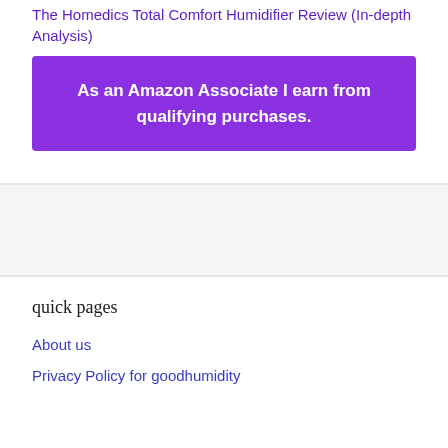The Homedics Total Comfort Humidifier Review (In-depth Analysis)
As an Amazon Associate I earn from qualifying purchases.
quick pages
About us
Privacy Policy for goodhumidity